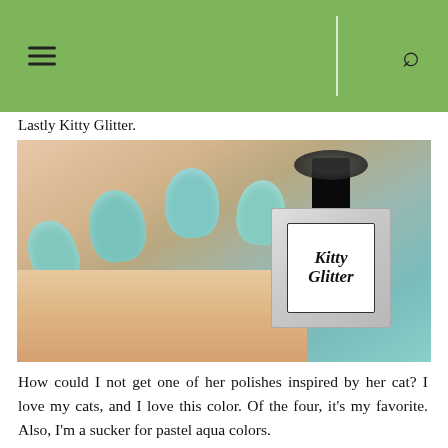Lastly Kitty Glitter.
[Figure (photo): Close-up photo of a hand holding a Kitty Glitter nail polish bottle. The nails are painted a pastel aqua/teal color with glitter. The bottle has a black cap and a white label reading 'Kitty Glitter' in decorative script.]
How could I not get one of her polishes inspired by her cat? I love my cats, and I love this color. Of the four, it's my favorite. Also, I'm a sucker for pastel aqua colors.
[Figure (photo): Close-up photo of fingernails painted in pastel aqua/teal color with glitter, partially shown at the bottom of the page.]